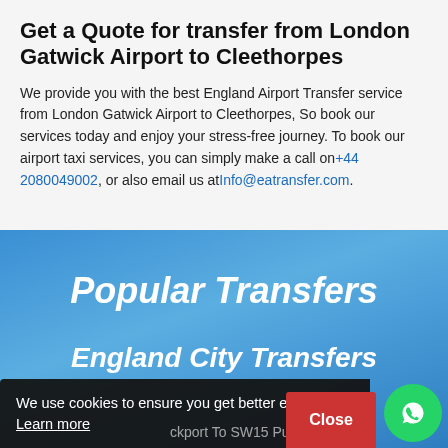Get a Quote for transfer from London Gatwick Airport to Cleethorpes
We provide you with the best England Airport Transfer service from London Gatwick Airport to Cleethorpes, So book our services today and enjoy your stress-free journey. To book our airport taxi services, you can simply make a call on+44 2080049002, or also email us atInfo@eatransfer.com.
Popular Transfers
England City Transfers
We use cookies to ensure you get better experience Learn more